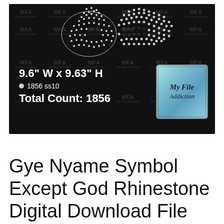[Figure (photo): Dark/black background product image showing a rhinestone Gye Nyame symbol design made of small crystals, with watermark text 'MFA / My File Addiction' repeated in grid pattern. Overlaid text shows dimensions: 9.6" W x 9.63" H, 1856 ss10, Total Count: 1856. A square logo badge in the lower-right corner reads 'My File Addiction' on a blue/teal gradient background.]
Gye Nyame Symbol Except God Rhinestone Digital Download File